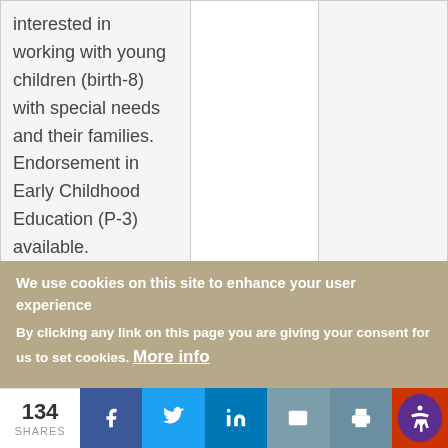| Program | Degrees | Concentrations |
| --- | --- | --- |
| interested in working with young children (birth-8) with special needs and their families. Endorsement in Early Childhood Education (P-3) available. |  |  |
| Education Policy | M.Ed., Ph.D. | Educational ... |
We use cookies on this site to enhance your user experience
By clicking any link on this page you are giving your consent for us to set cookies. More info
134 SHARES | Facebook | Twitter | LinkedIn | Email | Print | Accessibility